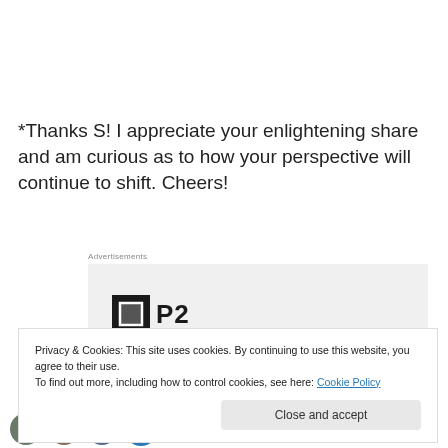*Thanks S!  I appreciate your enlightening share and am curious as to how your perspective will continue to shift.  Cheers!
Advertisements
[Figure (logo): P2 logo: black square with inner grey rectangle and bold 'P2' text]
Privacy & Cookies: This site uses cookies. By continuing to use this website, you agree to their use.
To find out more, including how to control cookies, see here: Cookie Policy